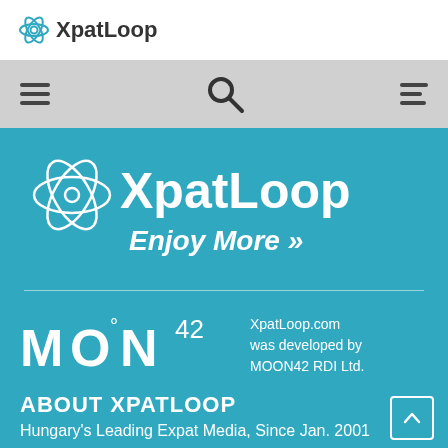[Figure (logo): XpatLoop logo with atom/orbit icon in top white header bar]
[Figure (screenshot): Gray navigation bar with hamburger menu icons on left and right, search magnifying glass icon in center]
[Figure (logo): Large XpatLoop logo with orbit icon and tagline 'Enjoy More »' on teal background]
[Figure (logo): MOON42 logo on lower teal section]
XpatLoop.com was developed by MOON42 RDI Ltd.
ABOUT XPATLOOP
Hungary's Leading Expat Media, Since Jan. 2001